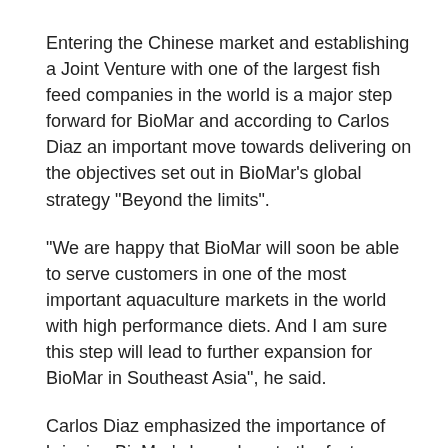Entering the Chinese market and establishing a Joint Venture with one of the largest fish feed companies in the world is a major step forward for BioMar and according to Carlos Diaz an important move towards delivering on the objectives set out in BioMar's global strategy "Beyond the limits".
"We are happy that BioMar will soon be able to serve customers in one of the most important aquaculture markets in the world with high performance diets. And I am sure this step will lead to further expansion for BioMar in Southeast Asia", he said.
Carlos Diaz emphasized the importance of bringing BioMar's know-how to the fast growing segment for high value fish species in China: "We have a long tradition for creating diets which secure fish farmers the best total economic performance in their farming operations and at the same time are environmental friendly." He explained that BioMar has its' roots in Denmark, a country with the toughest environmental legislation in the world, with very elaborate standards for food